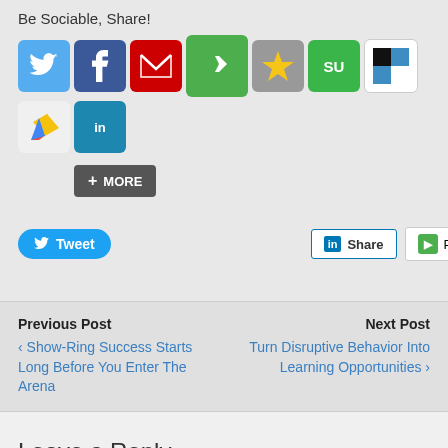Be Sociable, Share!
[Figure (infographic): Row of social media sharing icons: Twitter (blue bird), Facebook (blue f), Email (red envelope), Pinterest (green pin), Bookmark (gold star on grey), StumbleUpon (green SU), Delicious (black/white squares), Google+ (colored arrow), LinkedIn (teal in). Below icons: a grey More button with plus sign.]
[Figure (infographic): Three social sharing action buttons: blue Twitter Tweet button, blue LinkedIn Share button, grey/green Pinterest Pin button]
Previous Post
Next Post
‹ Show-Ring Success Starts Long Before You Enter The Arena
Turn Disruptive Behavior Into Learning Opportunities ›
Leave a Reply